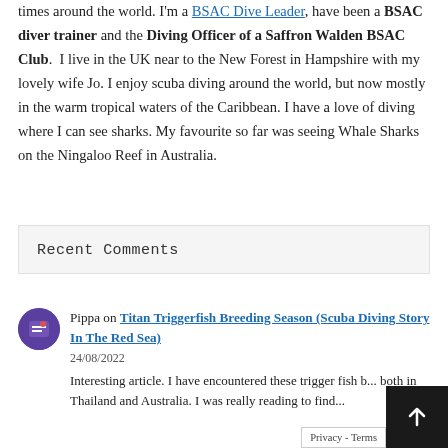times around the world. I'm a BSAC Dive Leader, have been a BSAC diver trainer and the Diving Officer of a Saffron Walden BSAC Club. I live in the UK near to the New Forest in Hampshire with my lovely wife Jo. I enjoy scuba diving around the world, but now mostly in the warm tropical waters of the Caribbean. I have a love of diving where I can see sharks. My favourite so far was seeing Whale Sharks on the Ningaloo Reef in Australia.
Recent Comments
Pippa on Titan Triggerfish Breeding Season (Scuba Diving Story In The Red Sea)
24/08/2022
Interesting article. I have encountered these trigger fish b... both in Thailand and Australia. I was really reading to find...